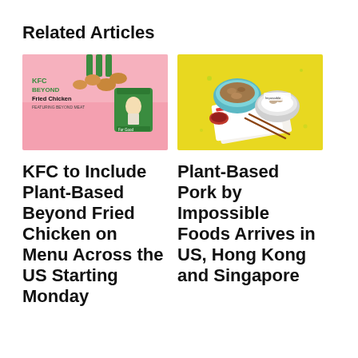Related Articles
[Figure (photo): KFC Beyond Fried Chicken promotional image with pink background and green KFC bucket]
[Figure (photo): Plant-based pork bowls by Impossible Foods on a yellow background with chopsticks]
KFC to Include Plant-Based Beyond Fried Chicken on Menu Across the US Starting Monday
Plant-Based Pork by Impossible Foods Arrives in US, Hong Kong and Singapore